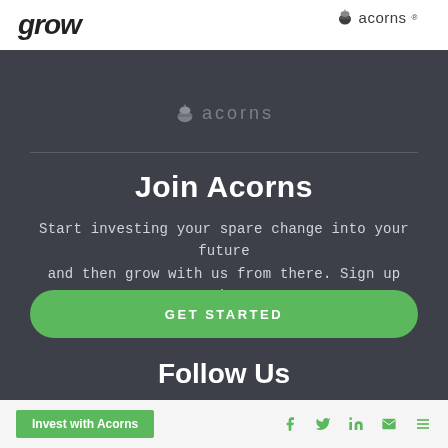[Figure (logo): grow logo in top left white banner, bold italic text]
[Figure (logo): Acorns logo with acorn icon in top right white banner]
[Figure (logo): Acorns logo centered in gray bar below header]
Join Acorns
Start investing your spare change into your future and then grow with us from there. Sign up today.
GET STARTED
Follow Us
[Figure (infographic): Social media icons: Facebook, Twitter, LinkedIn in green]
Invest with Acorns
[Figure (infographic): Footer social icons: Facebook, Twitter, LinkedIn, Email, Menu in green]